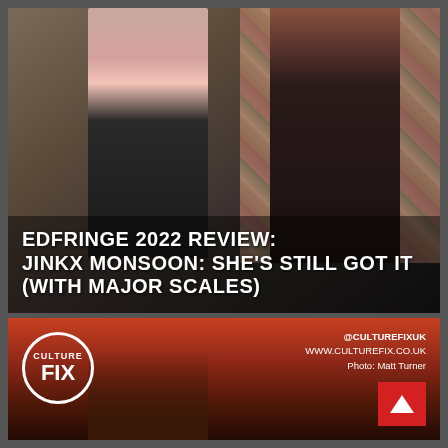[Figure (photo): Two performers standing in front of a collage wall: one in a black blazer and pink t-shirt (left), one in a black sheer outfit with red hair (right). Dark, editorial-style photography.]
EDFRINGE 2022 REVIEW: JINKX MONSOON: SHE'S STILL GOT IT (WITH MAJOR SCALES)
[Figure (photo): Bottom banner image showing a performer with a guitar against a dramatic red/dark sky background, with Culture Fix logo and social media information overlaid.]
@CULTUREFIXUK
WWW.CULTUREFIX.CO.UK
Photo: Matt Turner